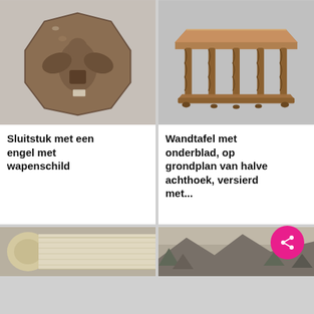[Figure (photo): Octagonal sandstone keystone carved with an angel holding a coat of arms shield, relief sculpture]
Sluitstuk met een engel met wapenschild
[Figure (photo): Wooden side table with shelf, half-octagonal floor plan, decorated with twisted barley-twist columns]
Wandtafel met onderblad, op grondplan van halve achthoek, versierd met...
[Figure (photo): Partially visible scroll or rolled document at bottom left]
[Figure (photo): Partially visible landscape print or map at bottom right]